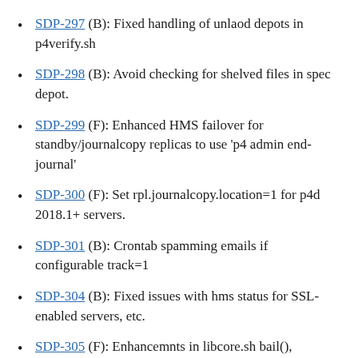SDP-297 (B): Fixed handling of unlaod depots in p4verify.sh
SDP-298 (B): Avoid checking for shelved files in spec depot.
SDP-299 (F): Enhanced HMS failover for standby/journalcopy replicas to use 'p4 admin end-journal'
SDP-300 (F): Set rpl.journalcopy.location=1 for p4d 2018.1+ servers.
SDP-301 (B): Crontab spamming emails if configurable track=1
SDP-304 (B): Fixed issues with hms status for SSL-enabled servers, etc.
SDP-305 (F): Enhancemnts in libcore.sh bail(),